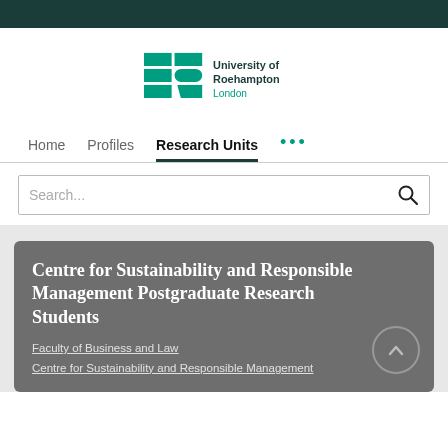[Figure (logo): University of Roehampton London logo — a stylized green R shape on the left, with 'University of Roehampton' in dark teal and 'London' in green on the right]
Home   Profiles   Research Units   ...
Search...
Centre for Sustainability and Responsible Management Postgraduate Research Students
Faculty of Business and Law
Centre for Sustainability and Responsible Management